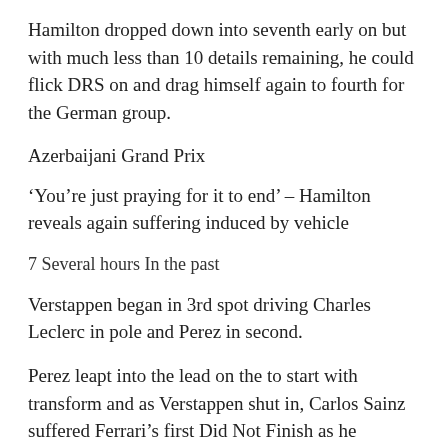Hamilton dropped down into seventh early on but with much less than 10 details remaining, he could flick DRS on and drag himself again to fourth for the German group.
Azerbaijani Grand Prix
‘You’re just praying for it to end’ – Hamilton reveals again suffering induced by vehicle
7 Several hours In the past
Verstappen began in 3rd spot driving Charles Leclerc in pole and Perez in second.
Perez leapt into the lead on the to start with transform and as Verstappen shut in, Carlos Sainz suffered Ferrari’s first Did Not Finish as he experienced from a hydraulics issue, compounding the Pink Bull benefit with the Spaniard noting early on that ‘Red Bull is quick’ – it